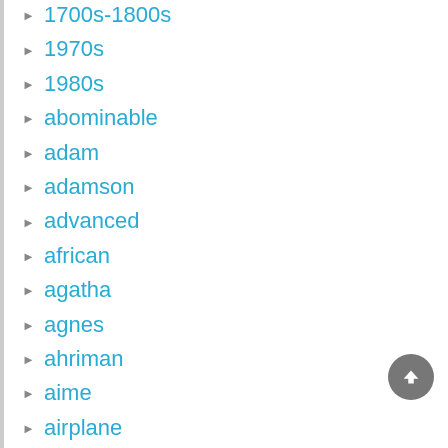1700s-1800s
1970s
1980s
abominable
adam
adamson
advanced
african
agatha
agnes
ahriman
aime
airplane
ajaib